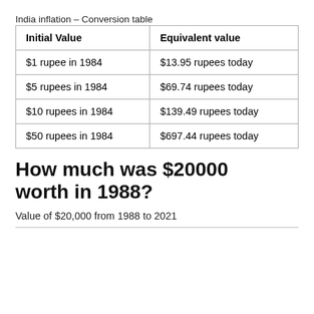India inflation – Conversion table
| Initial Value | Equivalent value |
| --- | --- |
| $1 rupee in 1984 | $13.95 rupees today |
| $5 rupees in 1984 | $69.74 rupees today |
| $10 rupees in 1984 | $139.49 rupees today |
| $50 rupees in 1984 | $697.44 rupees today |
How much was $20000 worth in 1988?
Value of $20,000 from 1988 to 2021